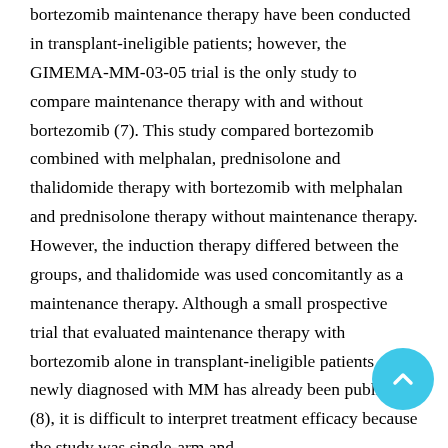bortezomib maintenance therapy have been conducted in transplant-ineligible patients; however, the GIMEMA-MM-03-05 trial is the only study to compare maintenance therapy with and without bortezomib (7). This study compared bortezomib combined with melphalan, prednisolone and thalidomide therapy with bortezomib with melphalan and prednisolone therapy without maintenance therapy. However, the induction therapy differed between the groups, and thalidomide was used concomitantly as a maintenance therapy. Although a small prospective trial that evaluated maintenance therapy with bortezomib alone in transplant-ineligible patients newly diagnosed with MM has already been published (8), it is difficult to interpret treatment efficacy because the study was single-arm and